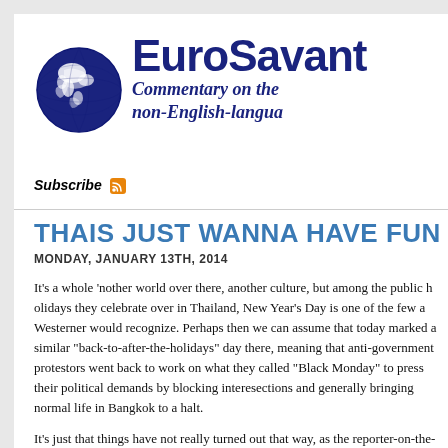EuroSavant — Commentary on the non-English-language
Subscribe
THAIS JUST WANNA HAVE FUN
MONDAY, JANUARY 13TH, 2014
It's a whole 'nother world over there, another culture, but among the public holidays they celebrate over in Thailand, New Year's Day is one of the few a Westerner would recognize. Perhaps then we can assume that today marked a similar "back-to-after-the-holidays" day there, meaning that anti-government protestors went back to work on what they called "Black Monday" to press their political demands by blocking interesections and generally bringing normal life in Bangkok to a halt.
It's just that things have not really turned out that way, as the reporter-on-the-